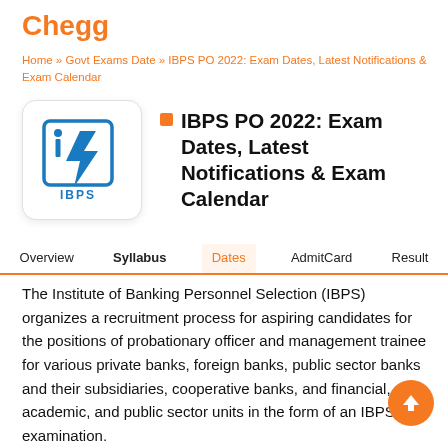Chegg
Home » Govt Exams Date » IBPS PO 2022: Exam Dates, Latest Notifications & Exam Calendar
[Figure (logo): IBPS logo — stylized 'i7' bolt symbol in blue with 'IBPS' text below, inside a rounded square box]
IBPS PO 2022: Exam Dates, Latest Notifications & Exam Calendar
Overview
Syllabus
Dates
AdmitCard
Result
The Institute of Banking Personnel Selection (IBPS) organizes a recruitment process for aspiring candidates for the positions of probationary officer and management trainee for various private banks, foreign banks, public sector banks and their subsidiaries, cooperative banks, and financial, academic, and public sector units in the form of an IBPS PO examination.